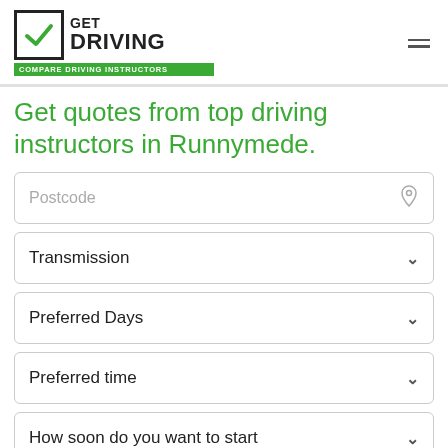GET DRIVING - COMPARE DRIVING INSTRUCTORS
Get quotes from top driving instructors in Runnymede.
Postcode (input field)
Transmission (dropdown)
Preferred Days (dropdown)
Preferred time (dropdown)
How soon do you want to start (dropdown)
FIND YOUR INSTRUCTOR (button)